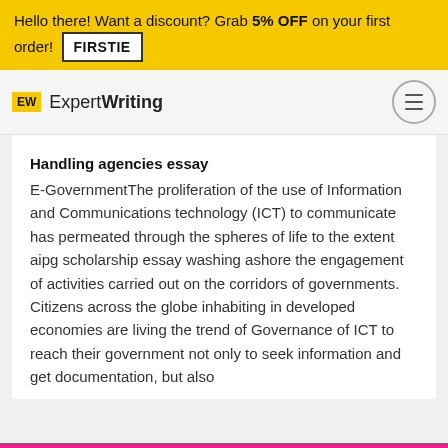Hello there! Want a discount? Grab 5% OFF on your first order! FIRSTIE
ExpertWriting
Handling agencies essay
E-GovernmentThe proliferation of the use of Information and Communications technology (ICT) to communicate has permeated through the spheres of life to the extent aipg scholarship essay washing ashore the engagement of activities carried out on the corridors of governments. Citizens across the globe inhabiting in developed economies are living the trend of Governance of ICT to reach their government not only to seek information and get documentation, but also